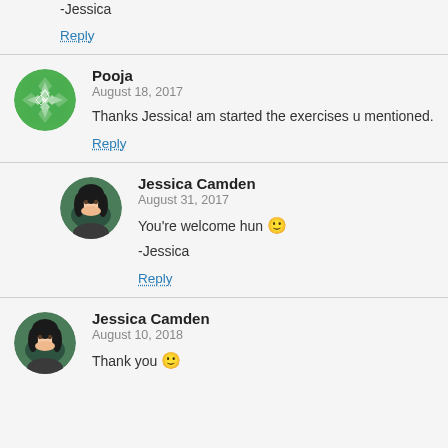the best of luck hun.
-Jessica
Reply
Pooja
August 18, 2017
Thanks Jessica! am started the exercises u mentioned.
Reply
Jessica Camden
August 31, 2017
You're welcome hun 🙂
-Jessica
Reply
Jessica Camden
August 10, 2018
Thank you 🙂